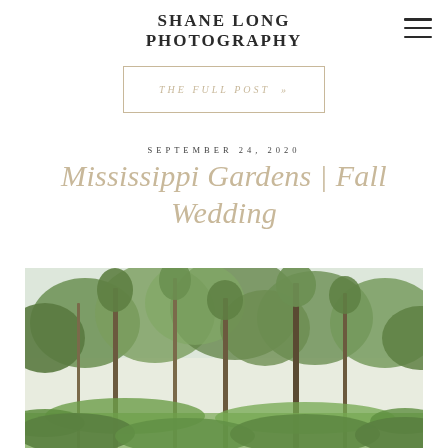SHANE LONG PHOTOGRAPHY
THE FULL POST »
SEPTEMBER 24, 2020
Mississippi Gardens | Fall Wedding
[Figure (photo): Outdoor garden/nature scene with tall trees and lush green foliage, appearing to be a wedding venue setting]